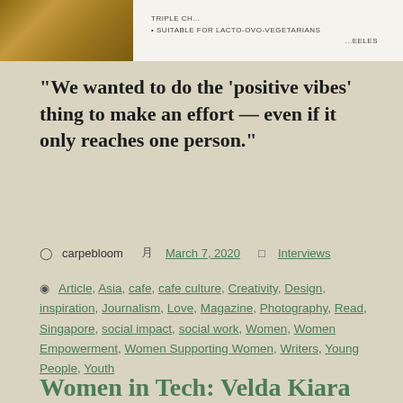[Figure (photo): Top portion of a page showing a wooden surface on the left and a white label/packaging on the right with text including 'TRIPLE CH...', 'SUITABLE FOR LACTO-OVO-VEGETARIANS', and '...EELES']
“We wanted to do the ‘positive vibes’ thing to make an effort — even if it only reaches one person.”
carpebloom   March 7, 2020   Interviews
Article, Asia, cafe, cafe culture, Creativity, Design, inspiration, Journalism, Love, Magazine, Photography, Read, Singapore, social impact, social work, Women, Women Empowerment, Women Supporting Women, Writers, Young People, Youth
Women in Tech: Velda Kiara